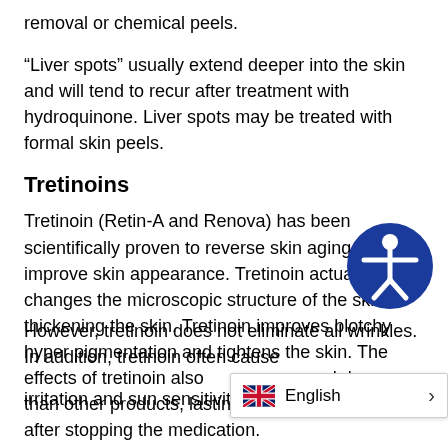removal or chemical peels.
“Liver spots” usually extend deeper into the skin and will tend to recur after treatment with hydroquinone. Liver spots may be treated with formal skin peels.
Tretinoins
Tretinoin (Retin-A and Renova) has been scientifically proven to reverse skin aging and improve skin appearance. Tretinoin actually changes the microscopic structure of the skin, thickening the skin. Tretinoin improves blotchy hyper pigmentation and tightens the skin. The effects of tretinoin also much longer than other products, lasting sev months after stopping the medication.
However, tretinoin does not eliminate all wrinkles. In addition, tretinoin often cause: irritation and sun sensitivity. R
[Figure (other): Blue circular accessibility icon with a white person figure, arms outstretched]
English